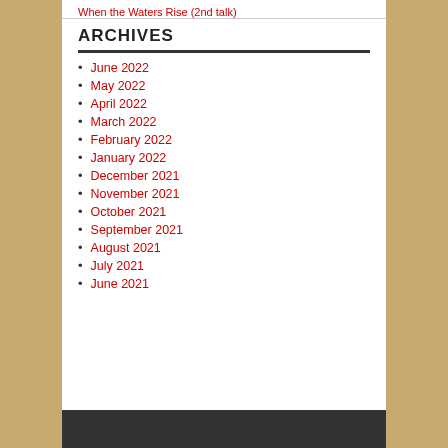When the Waters Rise (2nd talk)
ARCHIVES
June 2022
May 2022
April 2022
March 2022
February 2022
January 2022
December 2021
November 2021
October 2021
September 2021
August 2021
July 2021
June 2021